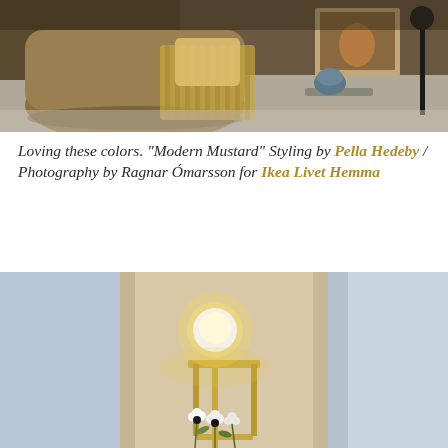[Figure (photo): Interior lifestyle photo showing mustard/tan colored poufs or ottomans on a light rug, with a throw blanket, decorative pillow, and framed artwork in the background, dark moody lighting]
Loving these colors. "Modern Mustard" Styling by Pella Hedeby / Photography by Ragnar Ómarsson for Ikea Livet Hemma
[Figure (photo): Interior photo with a white globe lamp on a gold/brass stand pedestal, against a light blue-grey wall, with small flowers at the bottom, soft warm glow from the lamp]